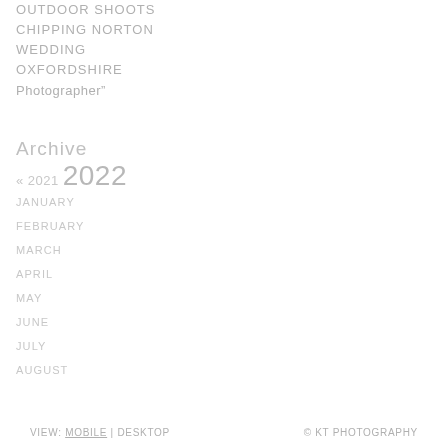Outdoor Shoots Chipping Norton Wedding Oxfordshire Photographer"
Archive
« 2021  2022
January
February
March
April
May
June
July
August
View: Mobile | Desktop  © KT Photography